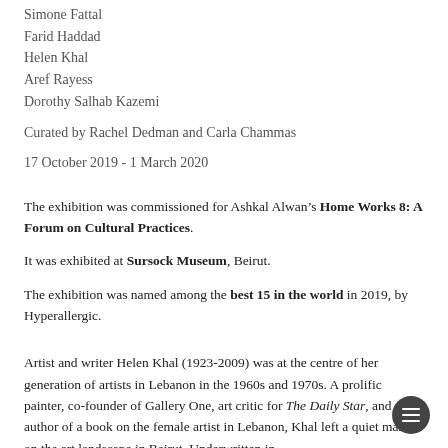Simone Fattal
Farid Haddad
Helen Khal
Aref Rayess
Dorothy Salhab Kazemi
Curated by Rachel Dedman and Carla Chammas
17 October 2019 - 1 March 2020
The exhibition was commissioned for Ashkal Alwan’s Home Works 8: A Forum on Cultural Practices.
It was exhibited at Sursock Museum, Beirut.
The exhibition was named among the best 15 in the world in 2019, by Hyperallergic.
Artist and writer Helen Khal (1923-2009) was at the centre of her generation of artists in Lebanon in the 1960s and 1970s. A prolific painter, co-founder of Gallery One, art critic for The Daily Star, and author of a book on the female artist in Lebanon, Khal left a quiet mark on the art landscape in Beirut. Underwritten in